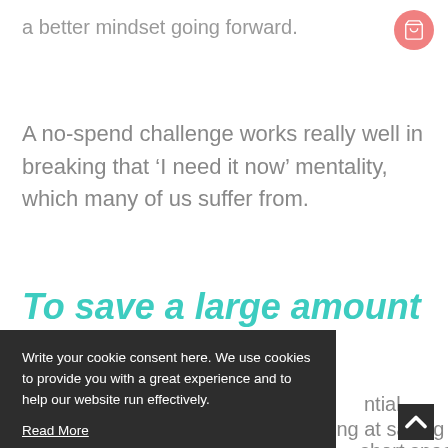a better mindset going forward.
A no-spend challenge works really well in breaking that ‘I need it now’ mentality, which many of us suffer from.
To save a large amount of
Write your cookie consent here. We use cookies to provide you with a great experience and to help our website run effectively.
Read More
OKAY
ntial
king at saving
short space
00 on eating
coffee and